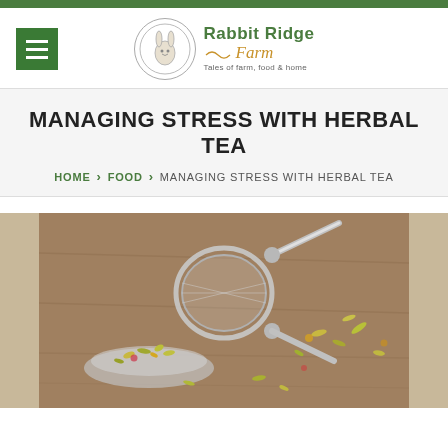[Figure (logo): Rabbit Ridge Farm logo with circular rabbit illustration, green text 'Rabbit Ridge' and gold italic 'Farm' script, tagline 'Tales of farm, food & home']
MANAGING STRESS WITH HERBAL TEA
HOME > FOOD > MANAGING STRESS WITH HERBAL TEA
[Figure (photo): Photo of dried herbal tea flowers and herbs in a small silver saucer with a metal tea strainer/infuser on a wooden surface, with scattered dried flowers around]